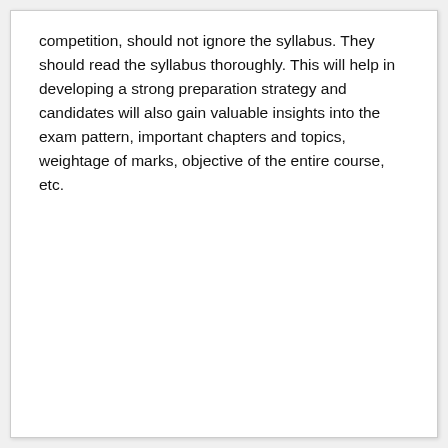competition, should not ignore the syllabus. They should read the syllabus thoroughly. This will help in developing a strong preparation strategy and candidates will also gain valuable insights into the exam pattern, important chapters and topics, weightage of marks, objective of the entire course, etc.